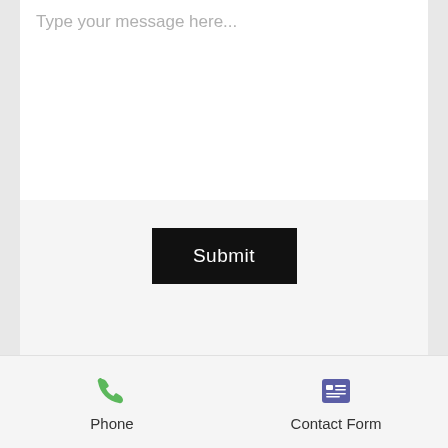Type your message here...
Submit
Phone
Contact Form